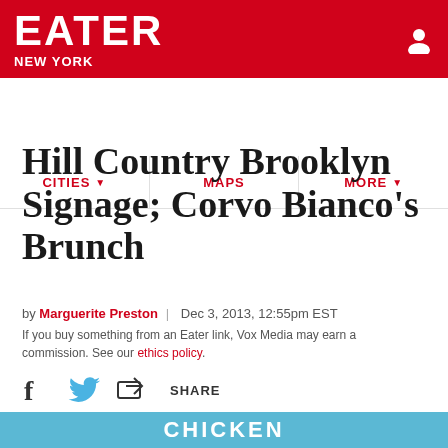EATER NEW YORK
CITIES | MAPS | MORE
Hill Country Brooklyn Signage; Corvo Bianco's Brunch
by Marguerite Preston | Dec 3, 2013, 12:55pm EST
If you buy something from an Eater link, Vox Media may earn a commission. See our ethics policy.
[Figure (photo): Bottom portion of page showing a blue storefront sign with the word CHICKEN in white text]
CHICKEN